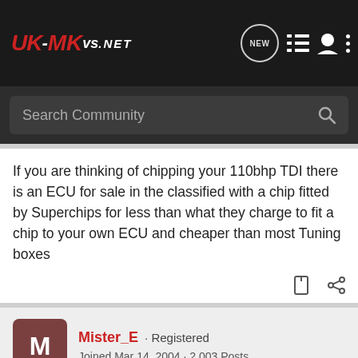UK-MKVs.NET — Navigation bar with NEW, list, user, and more icons
Search Community
If you are thinking of chipping your 110bhp TDI there is an ECU for sale in the classified with a chip fitted by Superchips for less than what they charge to fit a chip to your own ECU and cheaper than most Tuning boxes
Mister_E · Registered
Joined Mar 14, 2004 · 2,003 Posts
#14 · Oct 25, 2004
I've been running a speed buster tuning box and the